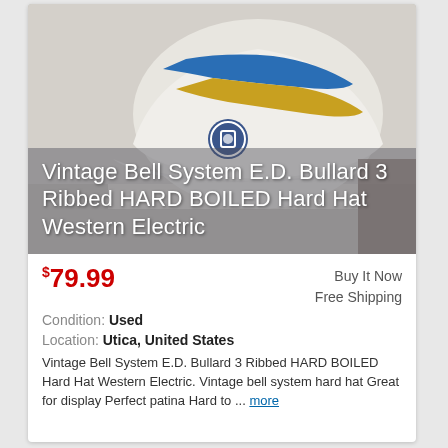[Figure (photo): Photo of a white vintage Bell System E.D. Bullard hard hat with a blue stripe and a yellow/gold stripe on top, with a Bell System logo badge visible on the front. The hat is displayed on a shelf against a light wall. Overlaid white text reads 'Vintage Bell System E.D. Bullard 3 Ribbed HARD BOILED Hard Hat Western Electric'.]
$79.99
Buy It Now
Free Shipping
Condition: Used
Location: Utica, United States
Vintage Bell System E.D. Bullard 3 Ribbed HARD BOILED Hard Hat Western Electric. Vintage bell system hard hat Great for display Perfect patina Hard to ... more